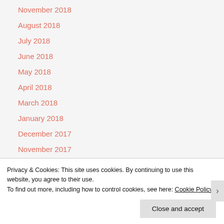November 2018
August 2018
July 2018
June 2018
May 2018
April 2018
March 2018
January 2018
December 2017
November 2017
October 2017
Privacy & Cookies: This site uses cookies. By continuing to use this website, you agree to their use. To find out more, including how to control cookies, see here: Cookie Policy
Close and accept